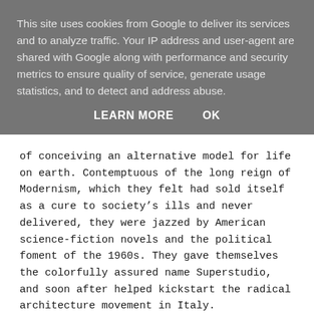This site uses cookies from Google to deliver its services and to analyze traffic. Your IP address and user-agent are shared with Google along with performance and security metrics to ensure quality of service, generate usage statistics, and to detect and address abuse.
LEARN MORE    OK
of conceiving an alternative model for life on earth. Contemptuous of the long reign of Modernism, which they felt had sold itself as a cure to society's ills and never delivered, they were jazzed by American science-fiction novels and the political foment of the 1960s. They gave themselves the colorfully assured name Superstudio, and soon after helped kickstart the radical architecture movement in Italy.
The fact that they never actually finished a building is, arguably, the point. Rather, they created “anti-